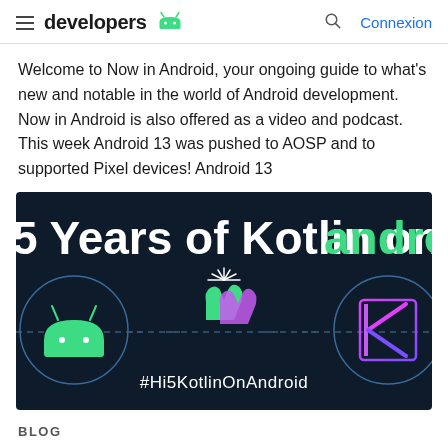developers — Connexion
Welcome to Now in Android, your ongoing guide to what's new and notable in the world of Android development. Now in Android is also offered as a video and podcast. This week Android 13 was pushed to AOSP and to supported Pixel devices! Android 13
[Figure (illustration): Dark navy background banner showing '5 Years of Kotlin on android' text in white and green, with Android robot logo in a circle on the left, a high-five hand gesture icon in the center, a Kotlin logo in a circle on the right, and hashtag #Hi5KotlinOnAndroid at the bottom.]
BLOG